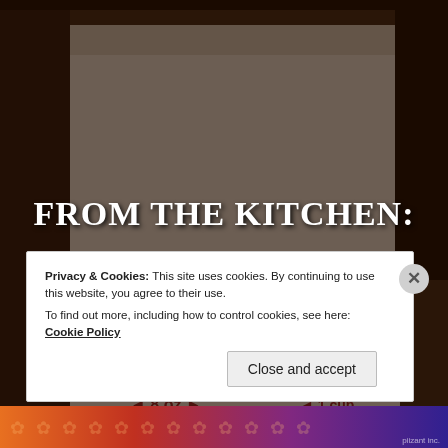[Figure (photo): Background photo of a white measuring bucket/container with red markings showing 12 oz, 8 oz, and 1 cup measurements, in a dimly lit kitchen setting]
FROM THE KITCHEN:
A slurry is nothing but water, yeast and some sugar. When it looks like this then I know it’s going to be a good bread day.
Read More
Privacy & Cookies: This site uses cookies. By continuing to use this website, you agree to their use.
To find out more, including how to control cookies, see here: Cookie Policy
Close and accept